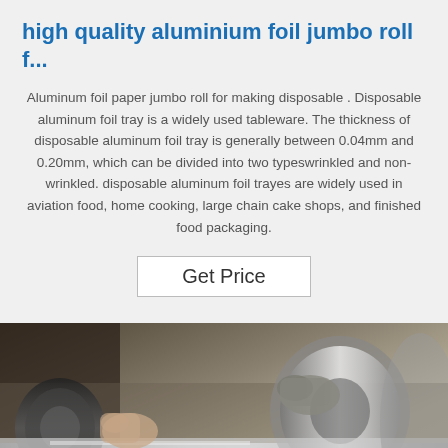high quality aluminium foil jumbo roll f...
Aluminum foil paper jumbo roll for making disposable . Disposable aluminum foil tray is a widely used tableware. The thickness of disposable aluminum foil tray is generally between 0.04mm and 0.20mm, which can be divided into two typeswrinkled and non-wrinkled. disposable aluminum foil trayes are widely used in aviation food, home cooking, large chain cake shops, and finished food packaging.
Get Price
[Figure (photo): Close-up photo of aluminium foil being processed on industrial machinery, showing shiny metallic foil rolls with hands visible in the background.]